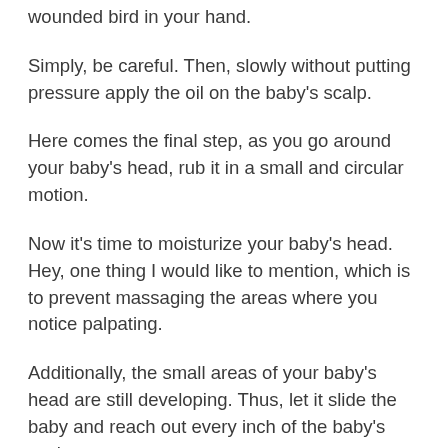wounded bird in your hand.
Simply, be careful. Then, slowly without putting pressure apply the oil on the baby’s scalp.
Here comes the final step, as you go around your baby’s head, rub it in a small and circular motion.
Now it’s time to moisturize your baby’s head. Hey, one thing I would like to mention, which is to prevent massaging the areas where you notice palpating.
Additionally, the small areas of your baby’s head are still developing. Thus, let it slide the baby and reach out every inch of the baby’s scalp.